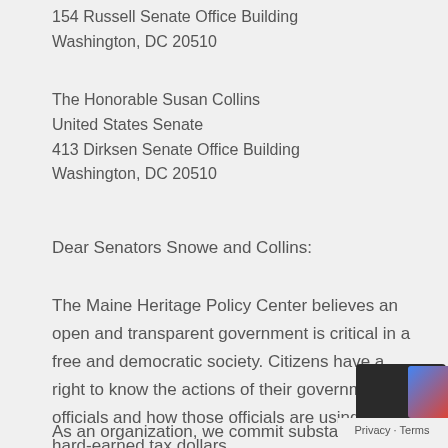154 Russell Senate Office Building
Washington, DC 20510
The Honorable Susan Collins
United States Senate
413 Dirksen Senate Office Building
Washington, DC 20510
Dear Senators Snowe and Collins:
The Maine Heritage Policy Center believes an open and transparent government is critical in a free and democratic society. Citizens have a right to know the actions of their government officials and how those officials are using our hard-earned tax dollars.
As an organization, we commit substantial